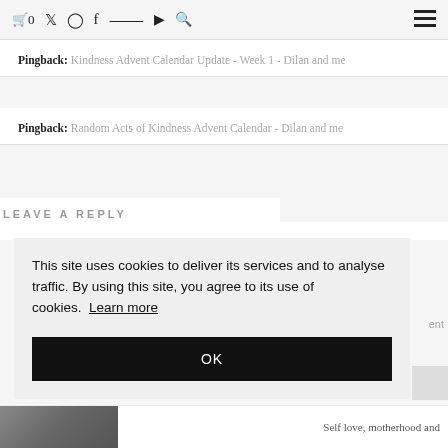🛒 0  Twitter  Instagram  Facebook  Pinterest  YouTube  Search  ☰
Pingback: Kindness Advent Calendar Update - Week 1 - Dilan and me
Pingback: Random Acts of Kindness Advent Calendar - Dilan and me
LEAVE A REPLY
This site uses cookies to deliver its services and to analyse traffic. By using this site, you agree to its use of cookies. Learn more
OK
Self love, motherhood and